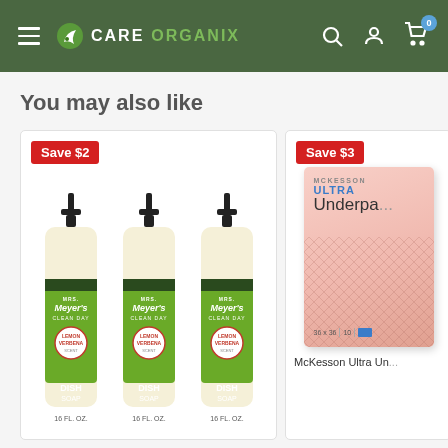Care Organix — navigation bar with hamburger menu, logo, search, account, and cart icons
You may also like
[Figure (photo): Three Mrs. Meyer's Clean Day Lemon Verbena Dish Soap 16 FL. OZ. bottles with Save $2 badge]
[Figure (photo): McKesson Ultra Underpads product box with Save $3 badge, partially visible]
McKesson Ultra Un...